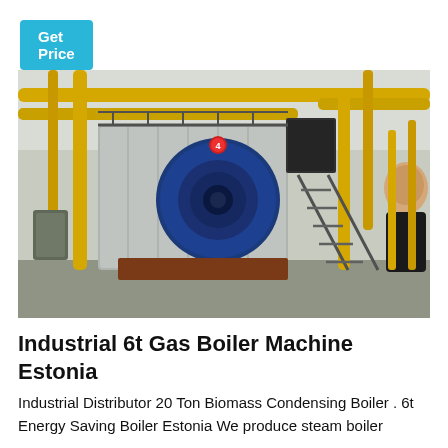Get Price
[Figure (photo): Industrial gas boiler machine in a factory setting with large yellow pipes, a blue circular burner front, metal staircase, and a worker visible on the right side.]
Industrial 6t Gas Boiler Machine Estonia
Industrial Distributor 20 Ton Biomass Condensing Boiler . 6t Energy Saving Boiler Estonia We produce steam boiler